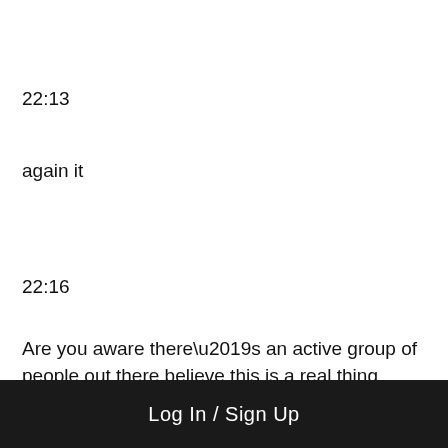22:13
again it
22:16
Are you aware there’s an active group of people out there believe this is a real thing. Believe
Log In / Sign Up